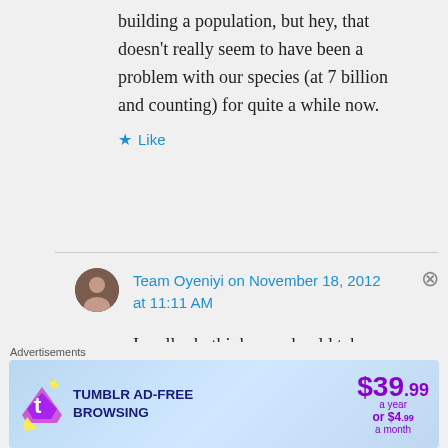building a population, but hey, that doesn't really seem to have been a problem with our species (at 7 billion and counting) for quite a while now.
★ Like
Team Oyeniyi on November 18, 2012 at 11:11 AM
I really do think you should take your comments and shape them
[Figure (infographic): Tumblr Ad-Free Browsing advertisement banner showing $39.99 a year or $4.99 a month pricing with Tumblr logo]